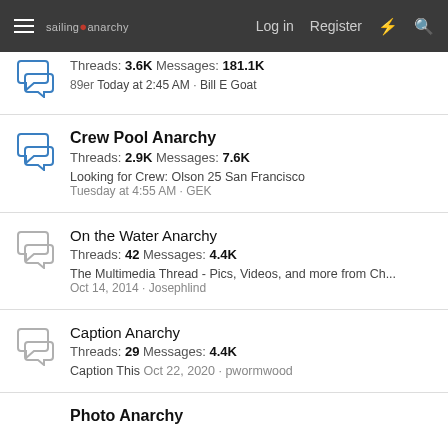sailing anarchy  Log in  Register
Threads: 3.6K Messages: 181.1K
89er Today at 2:45 AM · Bill E Goat
Crew Pool Anarchy
Threads: 2.9K Messages: 7.6K
Looking for Crew: Olson 25 San Francisco
Tuesday at 4:55 AM · GEK
On the Water Anarchy
Threads: 42 Messages: 4.4K
The Multimedia Thread - Pics, Videos, and more from Ch...
Oct 14, 2014 · Josephlind
Caption Anarchy
Threads: 29 Messages: 4.4K
Caption This Oct 22, 2020 · pwormwood
Photo Anarchy